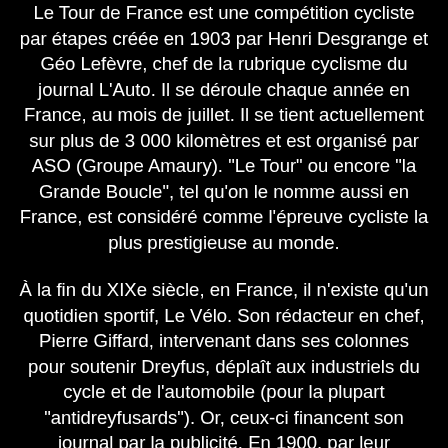Le Tour de France est une compétition cycliste par étapes créée en 1903 par Henri Desgrange et Géo Lefèvre, chef de la rubrique cyclisme du journal L'Auto. Il se déroule chaque année en France, au mois de juillet. Il se tient actuellement sur plus de 3 000 kilomètres et est organisé par ASO (Groupe Amaury). "Le Tour" ou encore "la Grande Boucle", tel qu'on le nomme aussi en France, est considéré comme l'épreuve cycliste la plus prestigieuse au monde.
À la fin du XIXe siècle, en France, il n'existe qu'un quotidien sportif, Le Vélo. Son rédacteur en chef, Pierre Giffard, intervenant dans ses colonnes pour soutenir Dreyfus, déplaît aux industriels du cycle et de l'automobile (pour la plupart "antidreyfusards"). Or, ceux-ci financent son journal par la publicité. En 1900, par leur représentant, le comte de Dion, ils choisissent Henri Desgrange pour créer un journal concurrent, L'Auto-Vélo. Alors que Le Vélo est publié sur papier vert, Desgrange fait éditer son quotidien sur papier jaune (quelques années plus tard, c'est cette couleur qui donnera